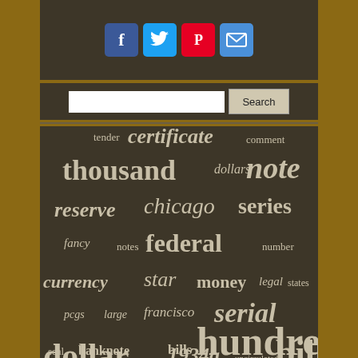[Figure (infographic): Social media share buttons: Facebook (blue), Twitter (light blue), Pinterest (red), Email (blue)]
[Figure (screenshot): Search bar with text input and Search button]
tender certificate comment thousand dollars note reserve chicago series fancy notes federal number currency star money legal states pcgs large francisco serial dollar 1934a uncirculated bill seal banknote bills hundred
tender
certificate
comment
thousand
dollars
note
reserve
chicago
series
fancy
notes
federal
number
currency
star
money
legal
states
pcgs
large
francisco
serial
dollar
1934a
uncirculated
bill
seal
banknote
bills
hundred